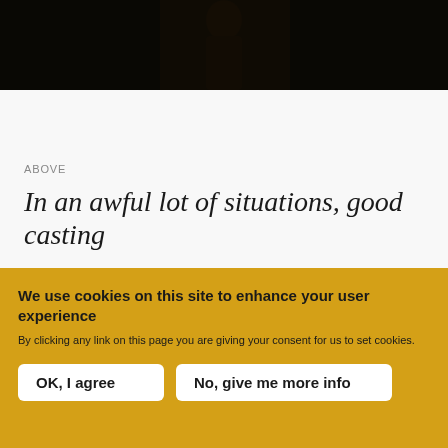[Figure (photo): Dark photograph of a person, mostly silhouette against a dark background]
ABOVE
In an awful lot of situations, good casting
We use cookies on this site to enhance your user experience
By clicking any link on this page you are giving your consent for us to set cookies.
OK, I agree   No, give me more info